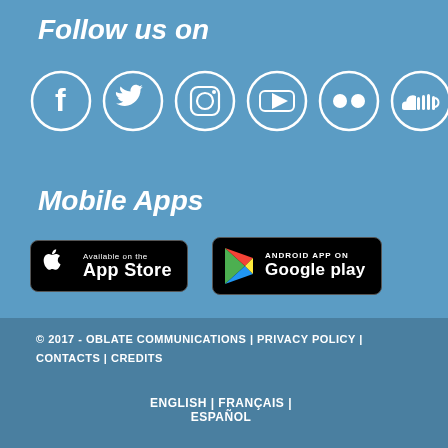Follow us on
[Figure (infographic): Six social media icons in white circles: Facebook, Twitter, Instagram, YouTube, Flickr, SoundCloud]
Mobile Apps
[Figure (infographic): App Store badge (Available on the App Store) and Google Play badge (Android App On Google Play)]
© 2017 - OBLATE COMMUNICATIONS | PRIVACY POLICY | CONTACTS | CREDITS
ENGLISH | FRANÇAIS | ESPAÑOL